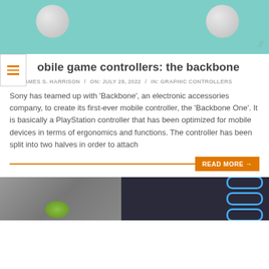[Figure (photo): Top portion of an article hero image showing a teal/mint background with two gray spherical objects partially visible at the top]
obile game controllers: the backbone
BY: JAMES S. HARRISON / ON: JULY 28, 2022 / IN: GRAPHIC CONTROLLERS
Sony has teamed up with 'Backbone', an electronic accessories company, to create its first-ever mobile controller, the 'Backbone One'. It is basically a PlayStation controller that has been optimized for mobile devices in terms of ergonomics and functions. The controller has been split into two halves in order to attach
READ MORE →
[Figure (photo): Bottom portion of a second article image showing a dark interior with blue-lit circular shapes on the right and a green object on the left]